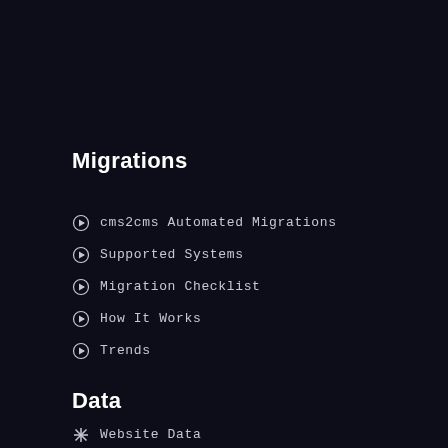Migrations
cms2cms Automated Migrations
Supported Systems
Migration Checklist
How It Works
Trends
Data
Website Data